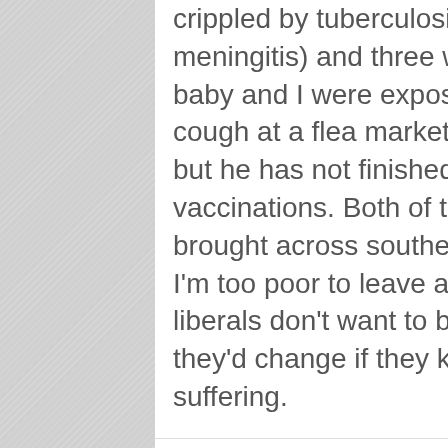crippled by tuberculosis (it caused meningitis) and three weeks ago, my baby and I were exposed to whooping cough at a flea market; I'm up to date, but he has not finished his series of vaccinations. Both of these were brought across southern border.
I'm too poor to leave and wealthier liberals don't want to believe it. I think they'd change if they knew our suffering.
Star   October 30, 2014   at 7:32 pm
Seriously people, don't think that, what's happening in Africa can't happen here.